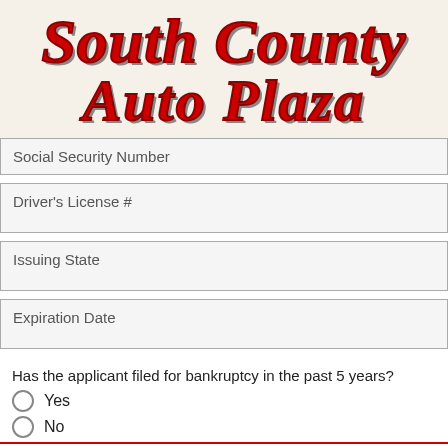[Figure (logo): South County Auto Plaza logo with large red italic serif text with drop shadow on cream background]
Social Security Number
Driver's License #
Issuing State
Expiration Date
Has the applicant filed for bankruptcy in the past 5 years?
Yes
No
Applicant Residence
TEXT US